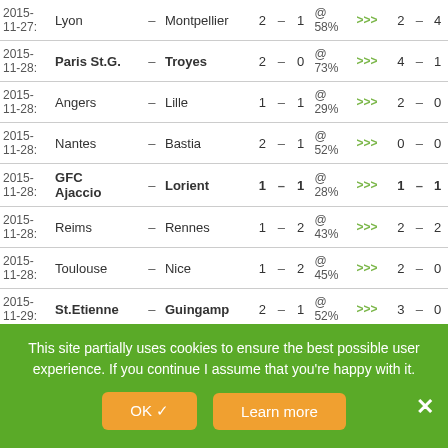| Date | Home |  | Away | HG | - | AG | @% | >>> | R1 | - | R2 |
| --- | --- | --- | --- | --- | --- | --- | --- | --- | --- | --- | --- |
| 2015-11-27: | Lyon | – | Montpellier | 2 | – | 1 | @58% | >>> | 2 | – | 4 |
| 2015-11-28: | Paris St.G. | – | Troyes | 2 | – | 0 | @73% | >>> | 4 | – | 1 |
| 2015-11-28: | Angers | – | Lille | 1 | – | 1 | @29% | >>> | 2 | – | 0 |
| 2015-11-28: | Nantes | – | Bastia | 2 | – | 1 | @52% | >>> | 0 | – | 0 |
| 2015-11-28: | GFC Ajaccio | – | Lorient | 1 | – | 1 | @28% | >>> | 1 | – | 1 |
| 2015-11-28: | Reims | – | Rennes | 1 | – | 2 | @43% | >>> | 2 | – | 2 |
| 2015-11-28: | Toulouse | – | Nice | 1 | – | 2 | @45% | >>> | 2 | – | 0 |
| 2015-11-29: | St.Etienne | – | Guingamp | 2 | – | 1 | @52% | >>> | 3 | – | 0 |
This site partially uses cookies to ensure the best possible user experience. If you continue I assume that you're happy with it.